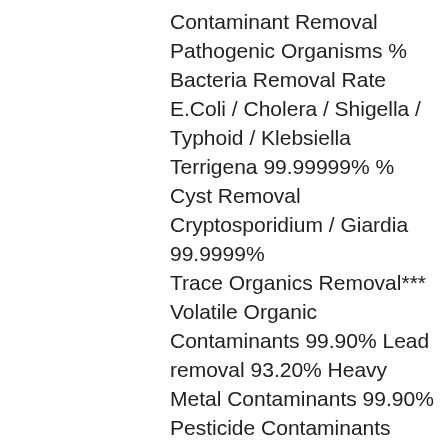Contaminant Removal Pathogenic Organisms % Bacteria Removal Rate E.Coli / Cholera / Shigella / Typhoid / Klebsiella Terrigena 99.99999% % Cyst Removal Cryptosporidium / Giardia 99.9999% Trace Organics Removal*** Volatile Organic Contaminants 99.90% Lead removal 93.20% Heavy Metal Contaminants 99.90% Pesticide Contaminants 99.90% Herbicide Contaminants 99.90% Excluding Lead , Nickel and Zinc Inorganics Removal Free Chlorine Removal @ 2 ppb presence* 99.90% Chloramine Removal @ 3 ppb presence* 99.90% Fluoride Removal @ 8 ppb presence* 97.00%